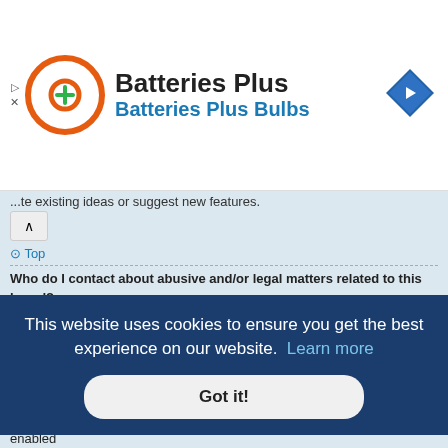[Figure (logo): Batteries Plus advertisement banner with orange circle logo, green plus sign, company name 'Batteries Plus' in bold dark text, subtitle 'Batteries Plus Bulbs' in blue, and a blue navigation arrow diamond icon on the right]
...te existing ideas or suggest new features.
⊙ Top
Who do I contact about abusive and/or legal matters related to this board? Any of the administrators listed on the "The team" page should be an appropriate point of contact for your complaints. If this still gets no response then you should contact the owner of the domain (do a whois lookup) or, if this is running on a free service (e.g. Yahoo!, free.fr, f2s.com, etc.), the management or abuse department of that service. Please note that the phpBB Limited has absolutely no jurisdiction and cannot in any way be held liable over how, ...d in ...c.) matter ...e of ...e of this ...l.
This website uses cookies to ensure you get the best experience on our website. Learn more
Got it!
All users of the board can use the "Contact us" form, if the option was enabled